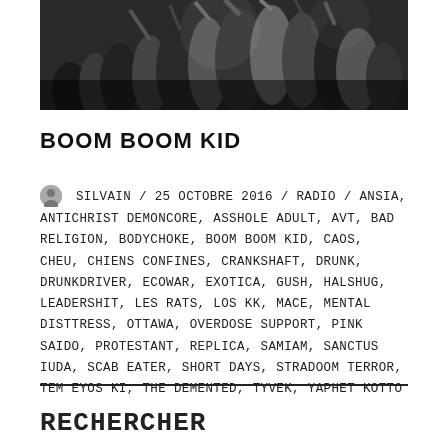[Figure (photo): Black and white photo of a crowd at a concert or punk show, people with raised hands, chaotic energy]
BOOM BOOM KID
SILVAIN / 25 OCTOBRE 2016 / RADIO / ANSIA, ANTICHRIST DEMONCORE, ASSHOLE ADULT, AVT, BAD RELIGION, BODYCHOKE, BOOM BOOM KID, CAOS, CHEU, CHIENS CONFINES, CRANKSHAFT, DRUNK, DRUNKDRIVER, ECOWAR, EXOTICA, GUSH, HALSHUG, LEADERSHIT, LES RATS, LOS KK, MACE, MENTAL DISTTRESS, OTTAWA, OVERDOSE SUPPORT, PINK SAIDO, PROTESTANT, REPLICA, SAMIAM, SANCTUS IUDA, SCAB EATER, SHORT DAYS, STRADOOM TERROR, TEM EYOS KI, THE DEMENTED, TYVEK, YAPHET KOTTO
RECHERCHER